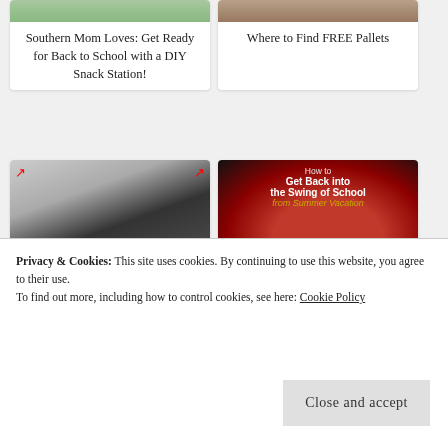[Figure (photo): Partial view of a snack station image (top cropped)]
Southern Mom Loves: Get Ready for Back to School with a DIY Snack Station!
[Figure (photo): Partial view of pallets image (top cropped)]
Where to Find FREE Pallets
[Figure (photo): Collage of dorm room must-haves with text '15 Must-Haves for Dorm Rooms']
Southern Mom Loves: 15 Must-Haves for Dorm Rooms
[Figure (photo): Apple on dark background with text 'How to Get Back into the Swing of School from Summer Vacation']
Southern Mom Loves: How to Get Your Family Back into the Swing of
Privacy & Cookies: This site uses cookies. By continuing to use this website, you agree to their use.
To find out more, including how to control cookies, see here: Cookie Policy
Close and accept
[Figure (photo): Partial cucumber salad image at bottom left]
[Figure (photo): Partial bird/nature image at bottom right]